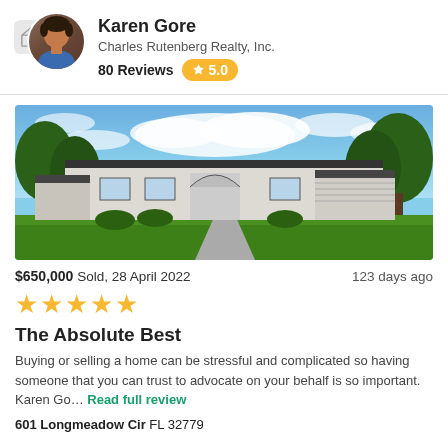Karen Gore
Charles Rutenberg Realty, Inc.
80 Reviews  5.0
[Figure (photo): Photo of a single-story home with white/beige stucco exterior, dark trim, arched entry, large green lawn, blue sky with clouds, and trees in background.]
$650,000 Sold, 28 April 2022  |  123 days ago
★★★★★
The Absolute Best
Buying or selling a home can be stressful and complicated so having someone that you can trust to advocate on your behalf is so important. Karen Go... Read full review
601 Longmeadow Cir FL 32779